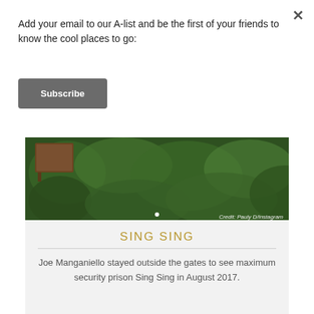Add your email to our A-list and be the first of your friends to know the cool places to go:
Subscribe
[Figure (photo): Outdoor photo of lush green foliage and trees with a wooden sign visible on the left side. Credit: Pauly D/Instagram]
SING SING
Joe Manganiello stayed outside the gates to see maximum security prison Sing Sing in August 2017.